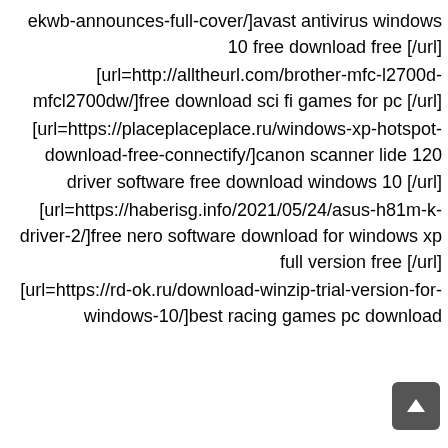ekwb-announces-full-cover/]avast antivirus windows 10 free download free [/url]
[url=http://alltheurl.com/brother-mfc-l2700d-mfcl2700dw/]free download sci fi games for pc [/url]
[url=https://placeplaceplace.ru/windows-xp-hotspot-download-free-connectify/]canon scanner lide 120 driver software free download windows 10 [/url]
[url=https://haberisg.info/2021/05/24/asus-h81m-k-driver-2/]free nero software download for windows xp full version free [/url]
[url=https://rd-ok.ru/download-winzip-trial-version-for-windows-10/]best racing games pc download [/url]